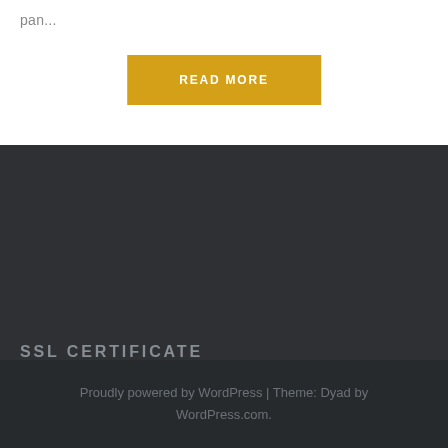pan...
READ MORE
SSL CERTIFICATE
Proudly powered by WordPress | Theme: Dyad by WordPress.com.